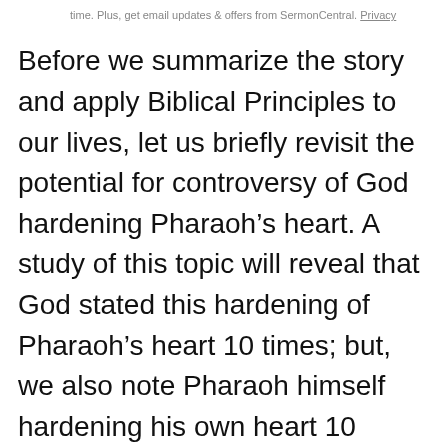time. Plus, get email updates & offers from SermonCentral. Privacy
Before we summarize the story and apply Biblical Principles to our lives, let us briefly revisit the potential for controversy of God hardening Pharaoh’s heart. A study of this topic will reveal that God stated this hardening of Pharaoh’s heart 10 times; but, we also note Pharaoh himself hardening his own heart 10 times! We have noted before that basically God allowed Pharaoh to